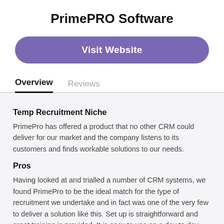PrimePRO Software
Visit Website
Overview
Reviews
Temp Recruitment Niche
PrimePro has offered a product that no other CRM could deliver for our market and the company listens to its customers and finds workable solutions to our needs.
Pros
Having looked at and trialled a number of CRM systems, we found PrimePro to be the ideal match for the type of recruitment we undertake and in fact was one of the very few to deliver a solution like this. Set up is straightforward and great training is provided. It is easy to use on a day to day basis and ongoing support is